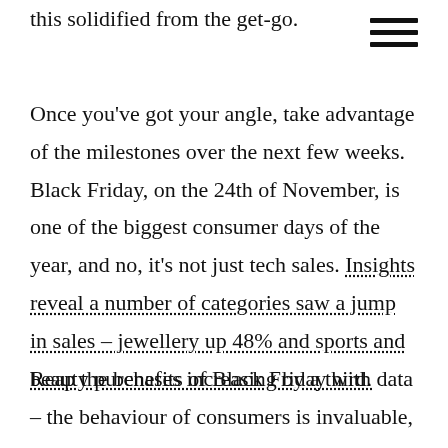this solidified from the get-go.
Once you've got your angle, take advantage of the milestones over the next few weeks. Black Friday, on the 24th of November, is one of the biggest consumer days of the year, and no, it's not just tech sales. Insights reveal a number of categories saw a jump in sales – jewellery up 48% and sports and beauty purchases increasing by a third.
Reap the benefits of Black Friday with data – the behaviour of consumers is invaluable, and